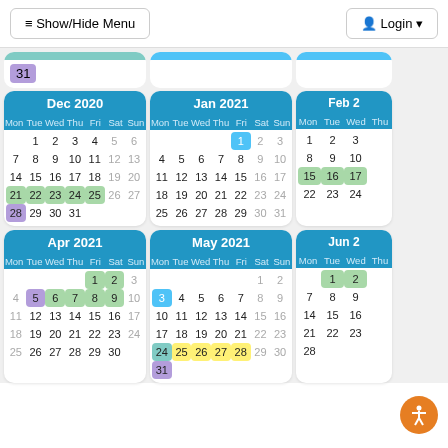Show/Hide Menu   Login
[Figure (screenshot): Calendar view showing Dec 2020, Jan 2021, Feb 2021 (partial), Apr 2021, May 2021, Jun 2021 (partial) with colored date highlights]
Dec 2020 calendar grid with Mon-Sun columns, dates 1-31
Jan 2021 calendar grid with Mon-Sun columns, dates 1-31
Feb 2021 partial calendar grid
Apr 2021 calendar grid with Mon-Sun columns, dates 1-30
May 2021 calendar grid with Mon-Sun columns, dates 1-31
Jun 2021 partial calendar grid